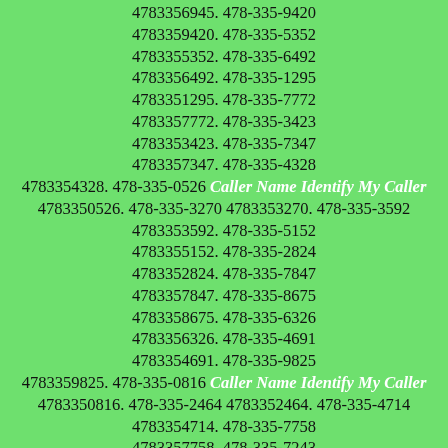4783356945. 478-335-9420 4783359420. 478-335-5352 4783355352. 478-335-6492 4783356492. 478-335-1295 4783351295. 478-335-7772 4783357772. 478-335-3423 4783353423. 478-335-7347 4783357347. 478-335-4328 4783354328. 478-335-0526 Caller Name Identify My Caller 4783350526. 478-335-3270 4783353270. 478-335-3592 4783353592. 478-335-5152 4783355152. 478-335-2824 4783352824. 478-335-7847 4783357847. 478-335-8675 4783358675. 478-335-6326 4783356326. 478-335-4691 4783354691. 478-335-9825 4783359825. 478-335-0816 Caller Name Identify My Caller 4783350816. 478-335-2464 4783352464. 478-335-4714 4783354714. 478-335-7758 4783357758. 478-335-7243 4783357243. 478-335-5183 4783355183. 478-335-3194